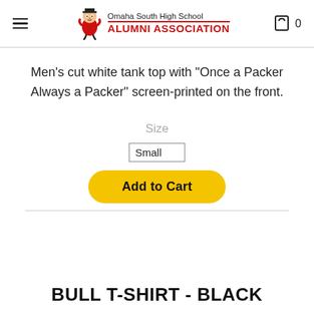Omaha South High School ALUMNI ASSOCIATION
Men's cut white tank top with “Once a Packer Always a Packer” screen-printed on the front.
Size
Small (dropdown selection)
Add to Cart
BULL T-SHIRT - BLACK